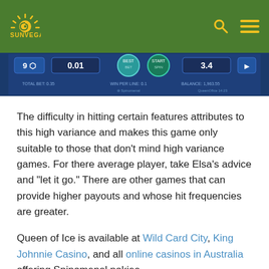SunVegas Casino
[Figure (screenshot): Screenshot of a slot game interface showing bet 0.01, balance 3.4, total bet 0.35, win per line 0.1, spinomenal logo]
The difficulty in hitting certain features attributes to this high variance and makes this game only suitable to those that don't mind high variance games. For there average player, take Elsa's advice and "let it go." There are other games that can provide higher payouts and whose hit frequencies are greater.
Queen of Ice is available at Wild Card City, King Johnnie Casino, and all online casinos in Australia offering Spinomenal pokies.